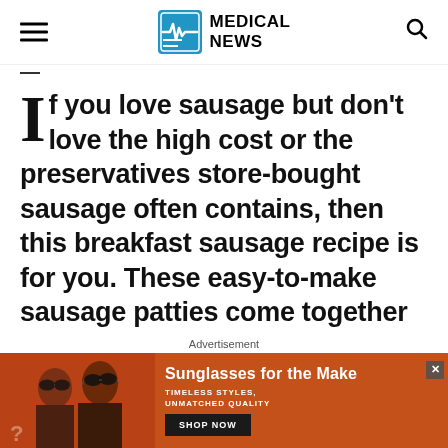MEDICAL NEWS
If you love sausage but don't love the high cost or the preservatives store-bought sausage often contains, then this breakfast sausage recipe is for you. These easy-to-make sausage patties come together in just 20 minutes, and you can customize the seasonings to your liking. They're great for meal prep, as they
Advertisement
[Figure (photo): Advertisement banner showing two women wearing sunglasses with text 'Sunglasses for the Make, TIMELESS STYLES, UNMATCHED QUALITY' and a 'SHOP NOW' button on an orange/brown background.]